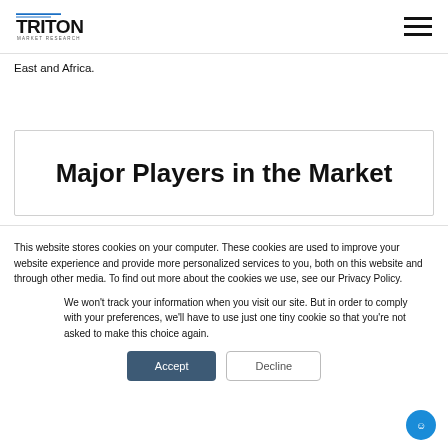Triton Market Research
East and Africa.
Major Players in the Market
This website stores cookies on your computer. These cookies are used to improve your website experience and provide more personalized services to you, both on this website and through other media. To find out more about the cookies we use, see our Privacy Policy.
We won't track your information when you visit our site. But in order to comply with your preferences, we'll have to use just one tiny cookie so that you're not asked to make this choice again.